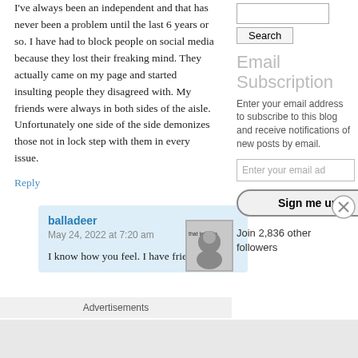I've always been an independent and that has never been a problem until the last 6 years or so. I have had to block people on social media because they lost their freaking mind. They actually came on my page and started insulting people they disagreed with. My friends were always in both sides of the aisle. Unfortunately one side of the side demonizes those not in lock step with them in every issue.
Reply
balladeer
May 24, 2022 at 7:20 am
I know how you feel. I have friends on
Advertisements
Email Subscription
Enter your email address to subscribe to this blog and receive notifications of new posts by email.
Enter your email ad
Sign me up!
Join 2,836 other followers